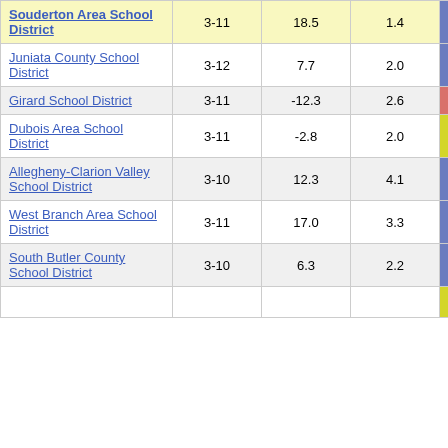| District | Grades | Col3 | Col4 | Score | Extra |
| --- | --- | --- | --- | --- | --- |
| Souderton Area School District | 3-11 | 18.5 | 1.4 | 12.86 |  |
| Juniata County School District | 3-12 | 7.7 | 2.0 | 3.81 |  |
| Girard School District | 3-11 | -12.3 | 2.6 | -4.76 |  |
| Dubois Area School District | 3-11 | -2.8 | 2.0 | -1.37 |  |
| Allegheny-Clarion Valley School District | 3-10 | 12.3 | 4.1 | 3.03 |  |
| West Branch Area School District | 3-11 | 17.0 | 3.3 | 5.20 |  |
| South Butler County School District | 3-10 | 6.3 | 2.2 | 2.80 |  |